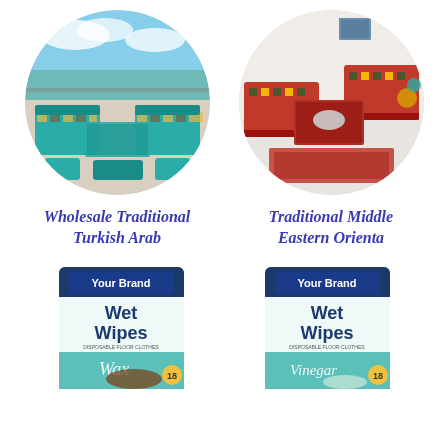[Figure (photo): Circular photo of traditional Turkish Arab floor seating set with teal/turquoise geometric patterned cushions and low table on rooftop terrace]
Wholesale Traditional Turkish Arab
[Figure (photo): Circular photo of traditional Middle Eastern red patterned floor seating set with ornate cushions, low table, and decorative lamps]
Traditional Middle Eastern Orienta
[Figure (photo): Product package of Your Brand Wet Wipes Disposable Floor Clothes Wax variant, 18 count]
[Figure (photo): Product package of Your Brand Wet Wipes Disposable Floor Clothes Vinegar variant, 18 count]